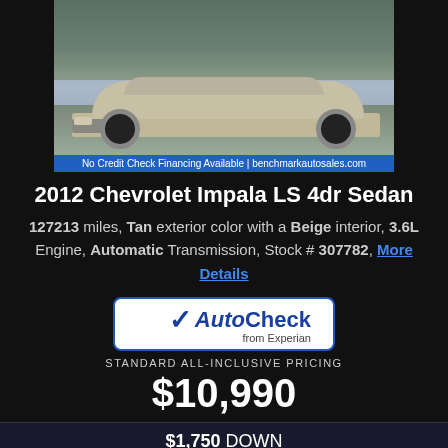[Figure (photo): Photo of a silver/tan 2012 Chevrolet Impala LS 4dr Sedan with banner text: No Credit Check Financing Available | benchmarkautosales.com]
2012 Chevrolet Impala LS 4dr Sedan
127213 miles, Tan exterior color with a Beige interior, 3.6L Engine, Automatic Transmission, Stock # 307782, More Details
[Figure (logo): AutoCheck from Experian logo badge]
STANDARD ALL-INCLUSIVE PRICING
$10,990
$1,750 DOWN
$89 WEEKLY